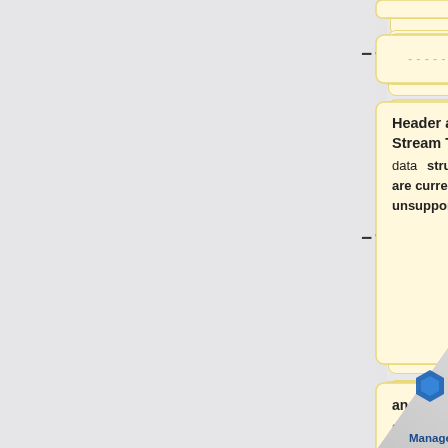[Figure (flowchart): A diff/comparison flowchart showing two columns of boxes. Left column shows yellow boxes with text about Header and Stream Text data structures being unsupported, right column shows blue boxes with filename, str or unicode, and URL descriptions. Plus and minus signs connect the rows.]